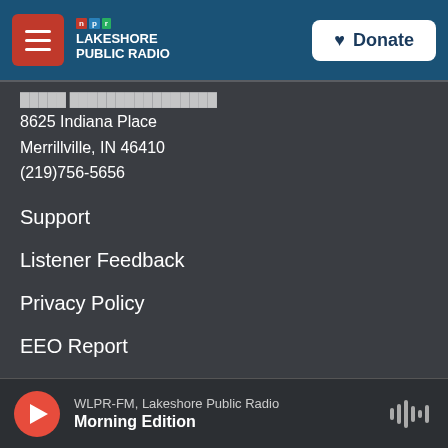NPR Lakeshore Public Radio | Donate
8625 Indiana Place
Merrillville, IN 46410
(219)756-5656
Support
Listener Feedback
Privacy Policy
EEO Report
FCC WLPR-FM Public File
WLPR-FM, Lakeshore Public Radio — Morning Edition